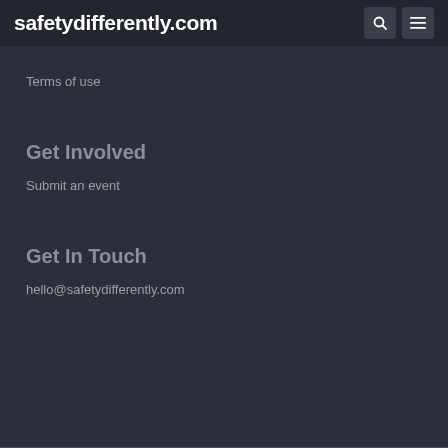safetydifferently.com
Terms of use
Get Involved
Submit an event
Get In Touch
hello@safetydifferently.com